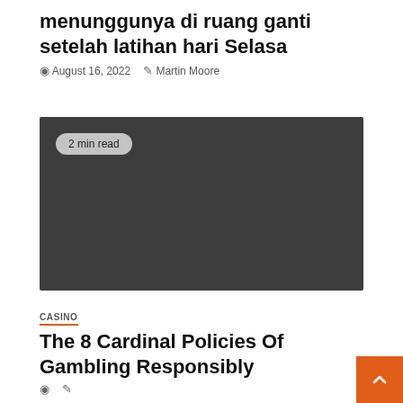menunggunya di ruang ganti setelah latihan hari Selasa
August 16, 2022  Martin Moore
[Figure (photo): Dark gray placeholder image with '2 min read' badge in top left corner]
CASINO
The 8 Cardinal Policies Of Gambling Responsibly
August 16, 2022  Martin Moore